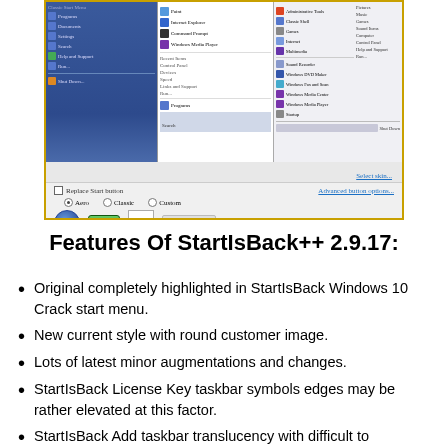[Figure (screenshot): Screenshot of StartIsBack++ configuration window showing Start Menu customization options with three menu style previews (Classic, default, custom), Replace Start button checkbox, Advanced button options link, Aero/Classic/Custom radio buttons, and button style previews.]
Features Of StartIsBack++ 2.9.17:
Original completely highlighted in StartIsBack Windows 10 Crack start menu.
New current style with round customer image.
Lots of latest minor augmentations and changes.
StartIsBack License Key taskbar symbols edges may be rather elevated at this factor.
StartIsBack Add taskbar translucency with difficult to